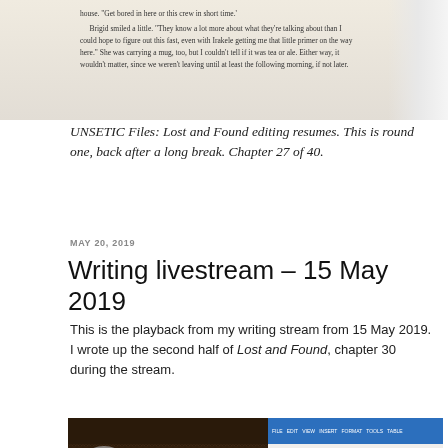[Figure (screenshot): Photo of a book page showing printed fiction text, partially visible, with a light background. Text excerpt visible about Brigid and characters in an inn.]
UNSETIC Files: Lost and Found editing resumes. This is round one, back after a long break. Chapter 27 of 40.
MAY 20, 2019
Writing livestream – 15 May 2019
This is the playback from my writing stream from 15 May 2019. I wrote up the second half of Lost and Found, chapter 30 during the stream.
[Figure (screenshot): YouTube video thumbnail for 'Writing live - 15 May 2019 - UNS...' showing a Doc Says Raw livestream with a purple-haired avatar, and a document editor on the right side.]